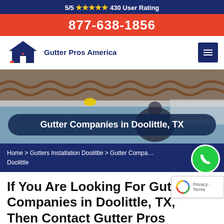5/5 ★★★★★ 430 User Rating
877-638-1856
[Figure (logo): Gutter Pros America logo with house icon]
Gutter Companies in Doolittle, TX
Home > Gutters Installation Doolittle > Gutter Companies Doolittle
If You Are Looking For Gutter Companies in Doolittle, TX, Then Contact Gutter Pros